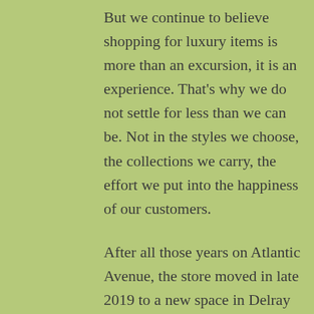But we continue to believe shopping for luxury items is more than an excursion, it is an experience. That's why we do not settle for less than we can be. Not in the styles we choose, the collections we carry, the effort we put into the happiness of our customers.
After all those years on Atlantic Avenue, the store moved in late 2019 to a new space in Delray Beach.  It's an exciting new chapter and we look forward to continuing the legacy there, with you.